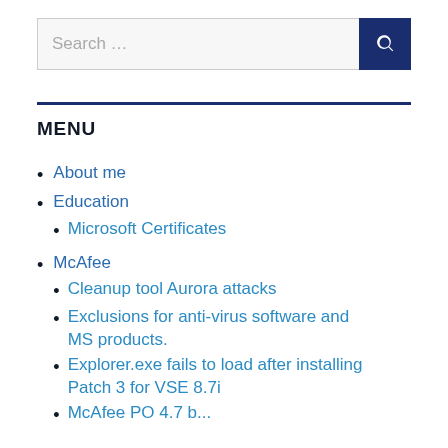Search …
MENU
About me
Education
Microsoft Certificates
McAfee
Cleanup tool Aurora attacks
Exclusions for anti-virus software and MS products.
Explorer.exe fails to load after installing Patch 3 for VSE 8.7i
McAfee PO 4.7 b...